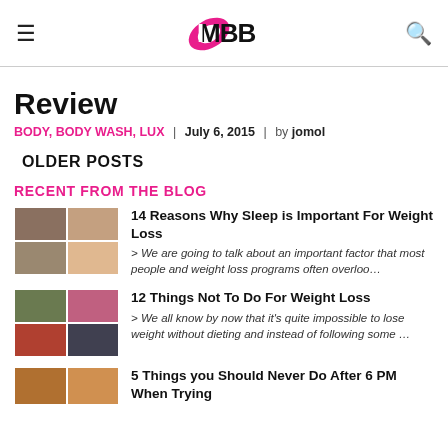IMBB logo with hamburger and search icons
Review
BODY, BODY WASH, LUX | July 6, 2015 | by jomol
OLDER POSTS
RECENT FROM THE BLOG
14 Reasons Why Sleep is Important For Weight Loss — > We are going to talk about an important factor that most people and weight loss programs often overloo…
12 Things Not To Do For Weight Loss — > We all know by now that it's quite impossible to lose weight without dieting and instead of following some …
5 Things you Should Never Do After 6 PM When Trying